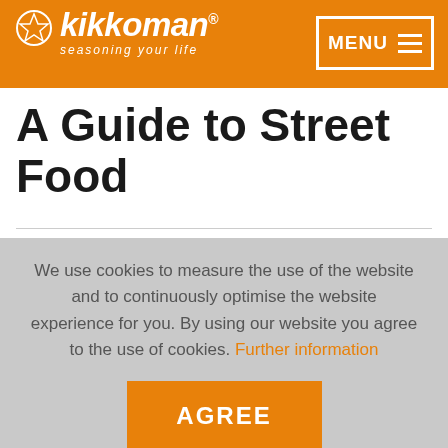kikkoman® seasoning your life | MENU
A Guide to Street Food
We use cookies to measure the use of the website and to continuously optimise the website experience for you. By using our website you agree to the use of cookies. Further information
AGREE